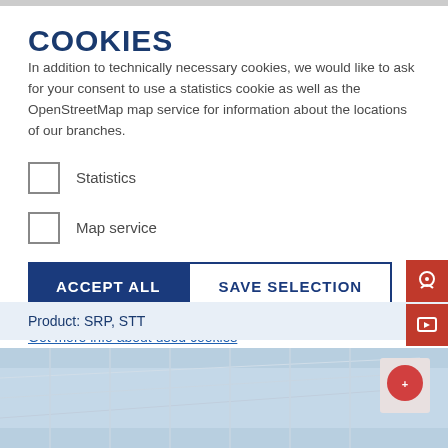COOKIES
In addition to technically necessary cookies, we would like to ask for your consent to use a statistics cookie as well as the OpenStreetMap map service for information about the locations of our branches.
Statistics
Map service
ACCEPT ALL   SAVE SELECTION
Get more info about used cookies
Product: SRP, STT
[Figure (photo): Partial view of a building or facility photographed from below, light blue sky background]